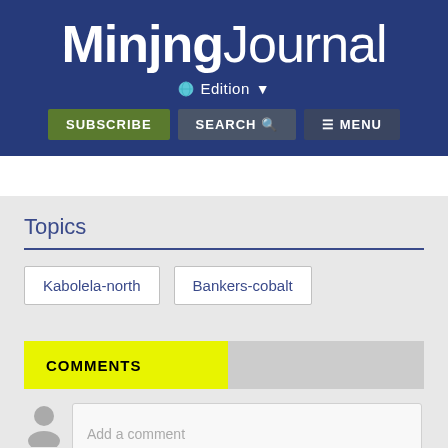Mining Journal
Edition
SUBSCRIBE  SEARCH  MENU
Topics
Kabolela-north
Bankers-cobalt
COMMENTS
Add a comment